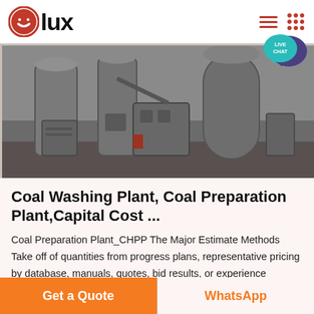lux
[Figure (photo): Industrial coal preparation plant machinery — large grey cylindrical and box-shaped equipment in a factory setting]
Coal Washing Plant, Coal Preparation Plant,Capital Cost ...
Coal Preparation Plant_CHPP The Major Estimate Methods Take off of quantities from progress plans, representative pricing by database, manuals, quotes, bid results, or experience adjusted for the condi...